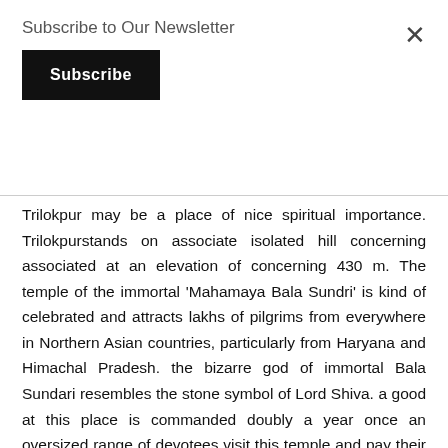Subscribe to Our Newsletter
Subscribe
×
Trilokpur may be a place of nice spiritual importance. Trilokpurstands on associate isolated hill concerning associated at an elevation of concerning 430 m. The temple of the immortal 'Mahamaya Bala Sundri' is kind of celebrated and attracts lakhs of pilgrims from everywhere in Northern Asian countries, particularly from Haryana and Himachal Pradesh. the bizarre god of immortal Bala Sundari resembles the stone symbol of Lord Shiva. a good at this place is commanded doubly a year once an oversized range of devotees visit this temple and pay their relevance to the immortal. this is often one of the terribly sacred places for Sirmauri peopleTrilokpur stands on an associated isolated hill concerning twenty-four kilometers south-west of Nahan, 77-15' north, and 30'30' east, at an associate